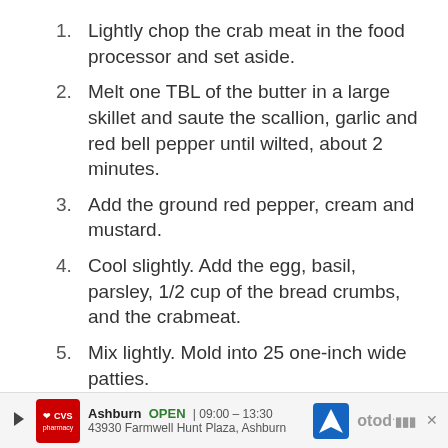Lightly chop the crab meat in the food processor and set aside.
Melt one TBL of the butter in a large skillet and saute the scallion, garlic and red bell pepper until wilted, about 2 minutes.
Add the ground red pepper, cream and mustard.
Cool slightly. Add the egg, basil, parsley, 1/2 cup of the bread crumbs, and the crabmeat.
Mix lightly. Mold into 25 one-inch wide patties.
Combine the remaining 1/2 cup of bread crumbs and the parmesan cheese in a shallow dish.
Roll the patties in the crumb and cheese mixture.
Chill for at least one hour. (The crab cakes
Ashburn  OPEN  09:00 – 13:30  43930 Farmwell Hunt Plaza, Ashburn